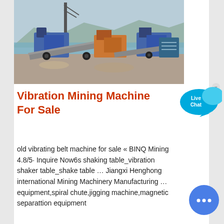[Figure (photo): Outdoor mining/quarry site showing heavy machinery including crushing and conveyor belt equipment near a body of water with mountains in the background]
Vibration Mining Machine For Sale
old vibrating belt machine for sale « BINQ Mining 4.8/5· Inquire Now6s shaking table_vibration shaker table_shake table … Jiangxi Henghong international Mining Machinery Manufacturing … equipment,spiral chute,jigging machine,magnetic separattion equipment
[Figure (illustration): Live Chat speech bubble widget in blue/cyan color with 'Live Chat' text and an x close button]
[Figure (illustration): Round blue messenger/chat button with three dots]